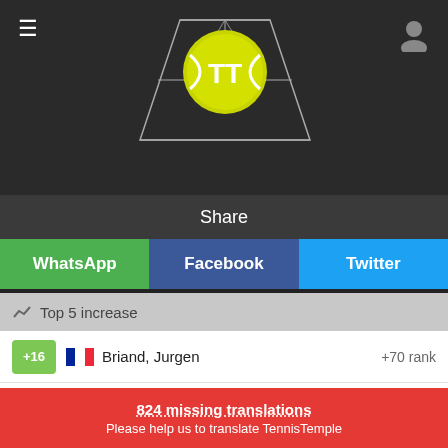[Figure (screenshot): Tennis app header with tennis court and yellow ball logo]
Share
WhatsApp
Facebook
Twitter
Top 5 increase
+16   Briand, Jurgen   +70 rank
+14   Royer, Valentin   +39 rank
+10   Humbert, Ugo   -1 rank
824 missing translations
Please help us to translate TennisTemple